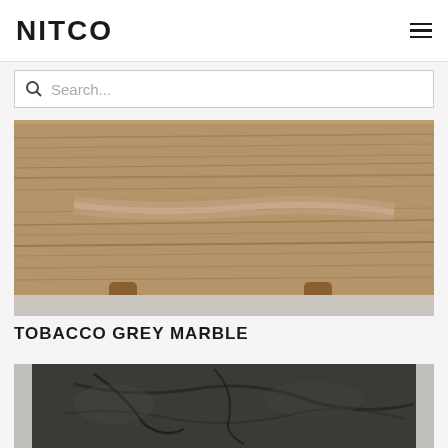NITCO
Search...
[Figure (photo): A large slab of Tobacco Grey Marble with brown/tan wood-like grain patterns, displayed on wooden support stands against a light background.]
TOBACCO GREY MARBLE
[Figure (photo): A dark grey/black marble slab with visible natural veining and crack patterns, partially visible at bottom of page.]